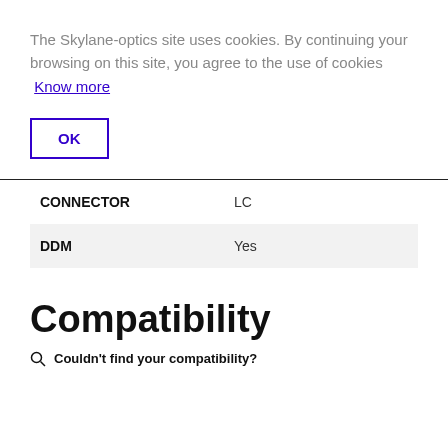The Skylane-optics site uses cookies. By continuing your browsing on this site, you agree to the use of cookies  Know more
OK
| CONNECTOR | LC |
| DDM | Yes |
Compatibility
Couldn't find your compatibility?